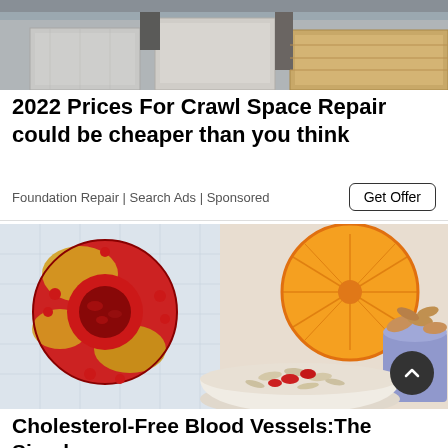[Figure (photo): Photo of a crawl space or foundation area with concrete blocks and wooden beams visible]
2022 Prices For Crawl Space Repair could be cheaper than you think
Foundation Repair | Search Ads | Sponsored
[Figure (illustration): Composite image showing a medical illustration of cholesterol-clogged blood vessels on the left, and food items including an orange slice, almonds in a blue cup, and a bowl of oats with goji berries on the right]
Cholesterol-Free Blood Vessels:The Simple